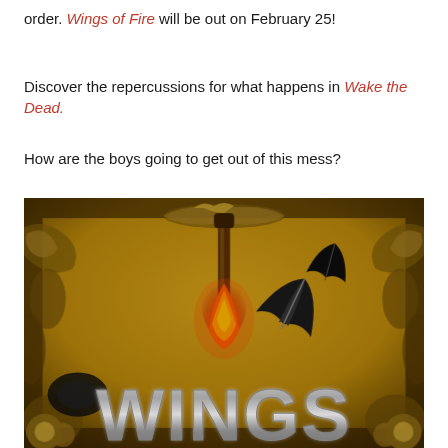order. Wings of Fire will be out on February 25!
Discover the repercussions for what happens in Wake the Dead.
How are the boys going to get out of this mess?
[Figure (illustration): Book cover image for 'Wings of Fire' showing golden ornate baroque frame with flames, black feathers falling, and large silver metallic letters spelling WINGS at the bottom, all on a golden amber background.]